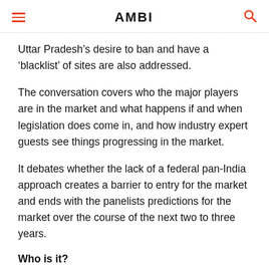AMBI
Uttar Pradesh’s desire to ban and have a ‘blacklist’ of sites are also addressed.
The conversation covers who the major players are in the market and what happens if and when legislation does come in, and how industry expert guests see things progressing in the market.
It debates whether the lack of a federal pan-India approach creates a barrier to entry for the market and ends with the panelists predictions for the market over the course of the next two to three years.
Who is it?